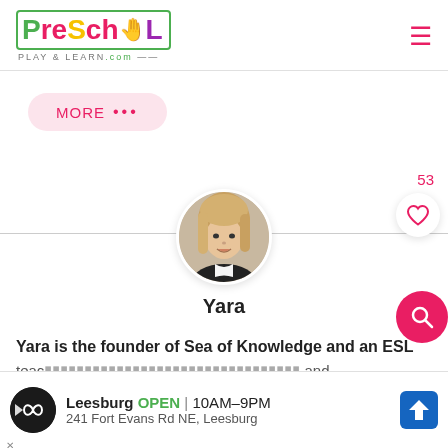PreSchool Play & Learn .com
MORE ...
[Figure (photo): Circular profile photo of Yara, a young woman with long blonde hair, smiling]
Yara
Yara is the founder of Sea of Knowledge and an ESL teac... and en... at
[Figure (other): Advertisement banner for Leesburg store: OPEN 10AM-9PM, 241 Fort Evans Rd NE, Leesburg]